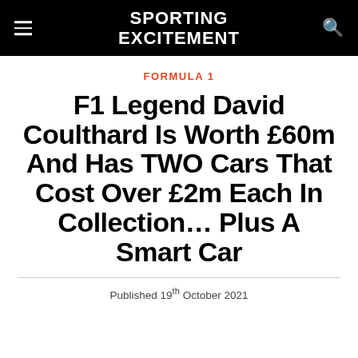SPORTING EXCITEMENT
FORMULA 1
F1 Legend David Coulthard Is Worth £60m And Has TWO Cars That Cost Over £2m Each In Collection… Plus A Smart Car
Published  19th October 2021